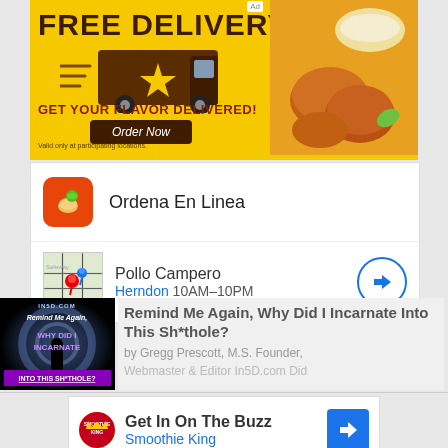[Figure (infographic): Pollo Campero free delivery advertisement banner with yellow background, delivery truck graphic, fried chicken image, 'FREE DELIVERY', 'GET YOUR FLAVOR DELIVERED!' text, and 'Order Now' button.]
Ordena En Linea
Pollo Campero
Herndon 10AM-10PM
[Figure (illustration): Thumbnail for article 'Remind Me Again, Why Did I Incarnate Into This Sh*thole?' showing dark background with figure silhouette and purple/white text overlay.]
Remind Me Again, Why Did I Incarnate Into This Sh*thole?
by Gregg Prescott, M.S. Founder, Webmaster & Editor In5D.com Did
[Figure (logo): Smoothie King advertisement with logo, headline 'Get In On The Buzz', and navigation arrow button.]
Get In On The Buzz
Smoothie King